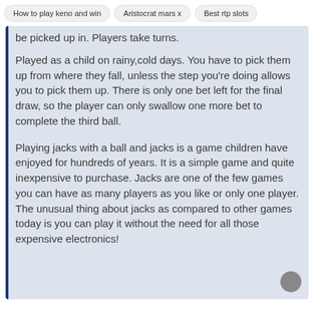How to play keno and win | Aristocrat mars x | Best rtp slots
be picked up in. Players take turns.
Played as a child on rainy,cold days. You have to pick them up from where they fall, unless the step you're doing allows you to pick them up. There is only one bet left for the final draw, so the player can only swallow one more bet to complete the third ball.
Playing jacks with a ball and jacks is a game children have enjoyed for hundreds of years. It is a simple game and quite inexpensive to purchase. Jacks are one of the few games you can have as many players as you like or only one player. The unusual thing about jacks as compared to other games today is you can play it without the need for all those expensive electronics!